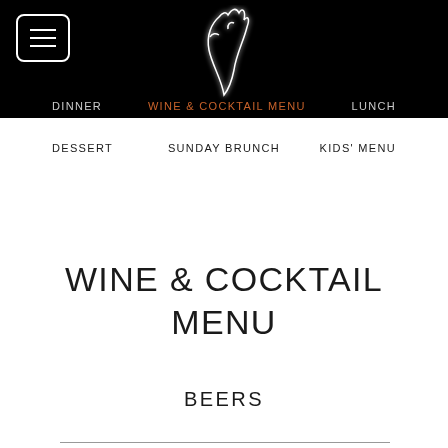Navigation header with hamburger menu, neon logo, DINNER | WINE & COCKTAIL MENU | LUNCH
DINNER
WINE & COCKTAIL MENU
LUNCH
DESSERT
SUNDAY BRUNCH
KIDS' MENU
WINE & COCKTAIL MENU
BEERS